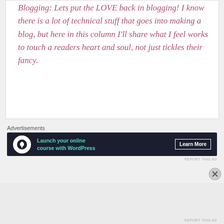Blogging: Lets put the LOVE back in blogging! I know there is a lot of technical stuff that goes into making a blog, but here in this column I'll share what I feel works to touch a readers heart and soul, not just tickles their fancy.
Advertisements
[Figure (other): Advertisement banner with dark background showing 'Launch your online course with WordPress' with a Learn More button and bonsai tree icon]
REPORT THIS AD
Advertisements
REPORT THIS AD